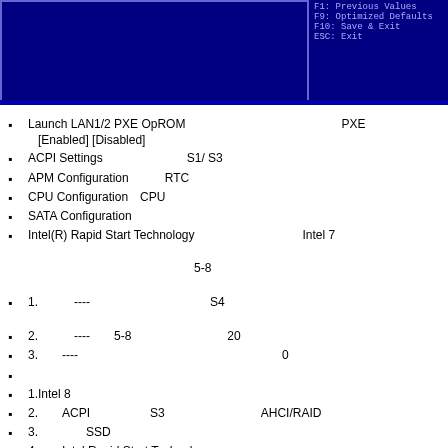[Figure (screenshot): BIOS setup screen showing blue background with bordered main panel and right-side help panel. Footer shows version info: Version 2.17.1246. Copyright (C) 2018 American Megatrends, Inc. Right panel shows: F1: Previous Values, F9: Optimized Defaults, F10: Save & Exit, ESC: Exit]
Launch LAN1/2 PXE OpROM　　　　　　　　　　　　　PXE　　　　　[Enabled] [Disabled]
ACPI Settings　　　　　　　S1/ S3
APM Configuration　　　RTC
CPU Configuration　CPU
SATA Configuration
Intel(R) Rapid Start Technology　　　　　　　　　Intel 7　　　　　　　　　　　　　　　　　　　　　　5-8
1.　　　----　　　　　　　　　　S4
2.　　　----　　5-8　　　　　　　　20
3.　　----　　　　　　　　　　　　　　　0
1.Intel 8
2.　　ACPI　　　　　S3　　　　　　　　AHCI/RAID
3.　　　　SSD
4.　　Intel Rapid Start Technology
5.　　Windows 7
USB Configuration　USB
Super IO Configuration　Super IO 　　　　　COM